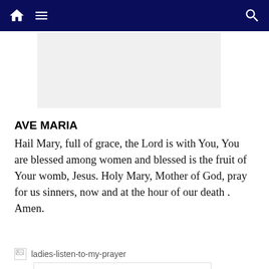Navigation bar with home, menu, and search icons
[Figure (other): Gray advertisement placeholder rectangle]
AVE MARIA
Hail Mary, full of grace, the Lord is with You, You are blessed among women and blessed is the fruit of Your womb, Jesus. Holy Mary, Mother of God, pray for us sinners, now and at the hour of our death . Amen.
[Figure (other): Broken image icon followed by text: ladies-listen-to-my-prayer]
[Figure (other): Advertisement unit showing infinity logo, In-store shopping text, blue diamond icon, play and close buttons]